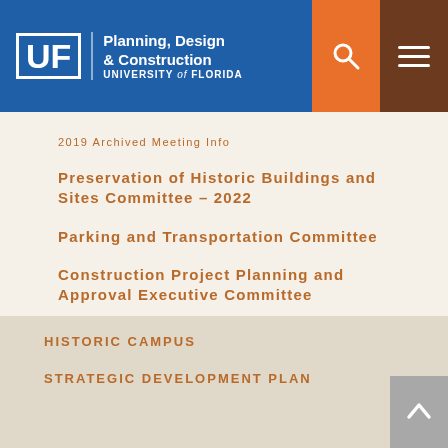UF Planning, Design & Construction — University of Florida
2019 Archived Meeting Info
Preservation of Historic Buildings and Sites Committee – 2022
Parking and Transportation Committee
Construction Project Planning and Approval Executive Committee
HISTORIC CAMPUS
STRATEGIC DEVELOPMENT PLAN